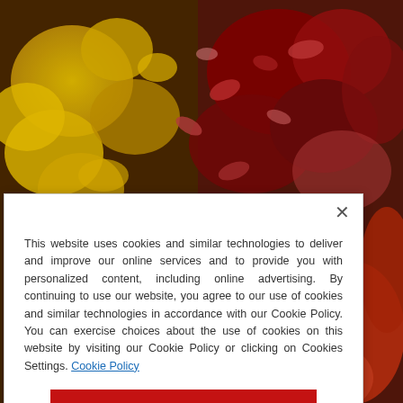[Figure (photo): Close-up photograph of colorful spices and dried flowers — yellow turmeric powder and red/crimson dried rose petals or chili flakes mixed together on a surface.]
This website uses cookies and similar technologies to deliver and improve our online services and to provide you with personalized content, including online advertising. By continuing to use our website, you agree to our use of cookies and similar technologies in accordance with our Cookie Policy. You can exercise choices about the use of cookies on this website by visiting our Cookie Policy or clicking on Cookies Settings. Cookie Policy
Cookies Settings